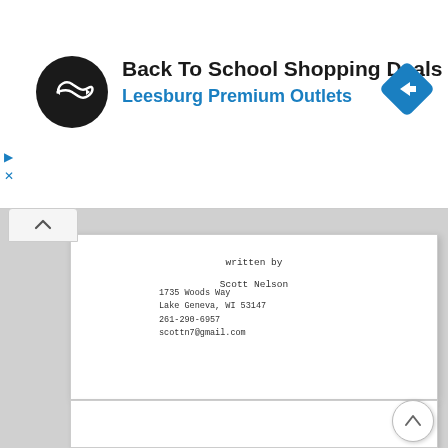[Figure (screenshot): Advertisement banner for Back To School Shopping Deals at Leesburg Premium Outlets with circular logo and navigation icon]
Back To School Shopping Deals
Leesburg Premium Outlets
written by
Scott Nelson
1735 Woods Way
Lake Geneva, WI 53147
261-290-6957
scottn7@gmail.com